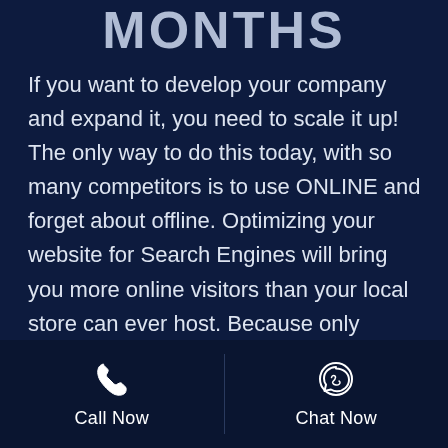MONTHS
If you want to develop your company and expand it, you need to scale it up! The only way to do this today, with so many competitors is to use ONLINE and forget about offline. Optimizing your website for Search Engines will bring you more online visitors than your local store can ever host. Because only means more people and it’s 24/7, not
Call Now  |  Chat Now